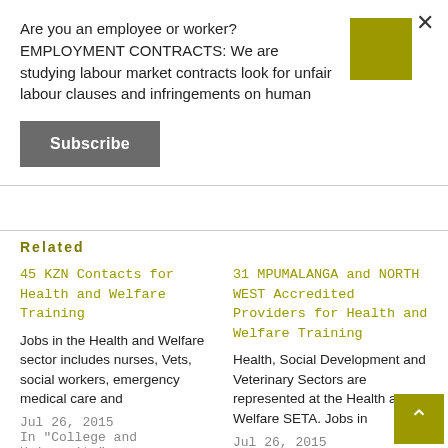Are you an employee or worker? EMPLOYMENT CONTRACTS: We are studying labour market contracts look for unfair labour clauses and infringements on human
Subscribe
Related
45 KZN Contacts for Health and Welfare Training
Jobs in the Health and Welfare sector includes nurses, Vets, social workers, emergency medical care and
Jul 26, 2015
In "College and University"
31 MPUMALANGA and NORTH WEST Accredited Providers for Health and Welfare Training
Health, Social Development and Veterinary Sectors are represented at the Health and Welfare SETA. Jobs in
Jul 26, 2015
In "College and University"